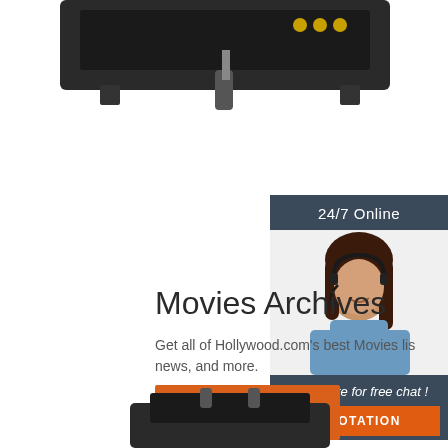[Figure (photo): Top portion of a black electronic device/equipment, partially cropped at top of page]
Movies Archives
Get all of Hollywood.com's best Movies lis news, and more.
[Figure (infographic): 24/7 Online chat widget with a woman wearing a headset, dark blue/slate background header saying '24/7 Online', italic text 'Click here for free chat !', and orange button labeled 'QUOTATION']
[Figure (photo): Bottom portion of a dark mechanical/electronic device, partially cropped at bottom of page]
[Figure (other): Orange 'Get Price' button]